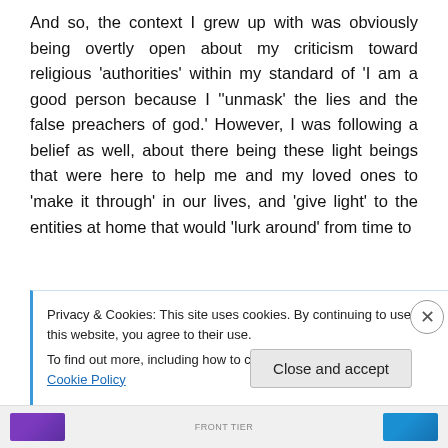And so, the context I grew up with was obviously being overtly open about my criticism toward religious 'authorities' within my standard of 'I am a good person because I ''unmask' the lies and the false preachers of god.' However, I was following a belief as well, about there being these light beings that were here to help me and my loved ones to 'make it through' in our lives, and 'give light' to the entities at home that would 'lurk around' from time to
Privacy & Cookies: This site uses cookies. By continuing to use this website, you agree to their use.
To find out more, including how to control cookies, see here: Cookie Policy
FRONT TIER